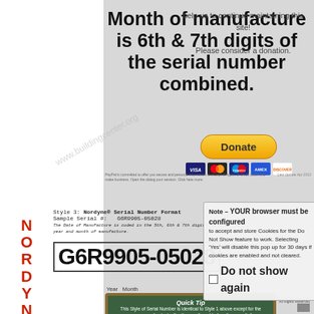help us to continue maintaining this site!
Please consider a donation.
Month of manufacture is 6th & 7th digits of the serial number combined.
[Figure (other): PayPal Donate button with payment card logos (Visa, Mastercard, etc.)]
Style 3: Nordyne® Serial Number Format
Sample Serial #: G6R9905-05028
The Date of Manufacture is coded in the year and month of manufacture.
G6R9905-05028
Year Month
Note – YOUR browser must be configured to accept and store Cookies for the Do Not Show feature to work. Selecting 'Yes' will disable this pop up for 30 days if cookies are enabled and not cleared.
Do not show again
[Figure (other): Chalk board style box with Quick Tip text about Style of Serial Number]
©2011 Ready-made Docs. Frigidaire, Gibson, Nordyne, Tappan and Westinghouse.
Kelvinator, Miller Heating, Borden Miller, Tappan and Westinghouse. Building Intelligence Center All Rights Reserved